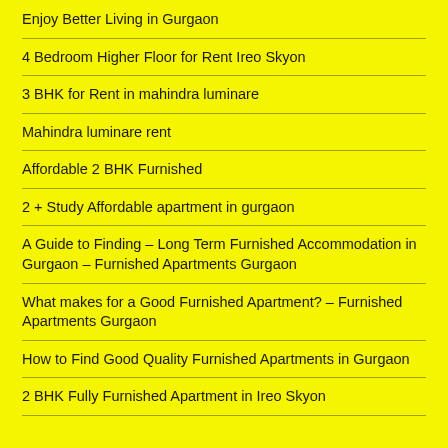Enjoy Better Living in Gurgaon
4 Bedroom Higher Floor for Rent Ireo Skyon
3 BHK for Rent in mahindra luminare
Mahindra luminare rent
Affordable 2 BHK Furnished
2 + Study Affordable apartment in gurgaon
A Guide to Finding – Long Term Furnished Accommodation in Gurgaon – Furnished Apartments Gurgaon
What makes for a Good Furnished Apartment? – Furnished Apartments Gurgaon
How to Find Good Quality Furnished Apartments in Gurgaon
2 BHK Fully Furnished Apartment in Ireo Skyon